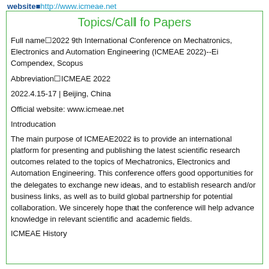website http://www.icmeae.net
Topics/Call fo Papers
Full nameÞlv2022 9th International Conference on Mechatronics, Electronics and Automation Engineering (ICMEAE 2022)--Ei Compendex, Scopus
AbbreviationÞlICMEAE 2022
2022.4.15-17 | Beijing, China
Official website: www.icmeae.net
Introducation
The main purpose of ICMEAE2022 is to provide an international platform for presenting and publishing the latest scientific research outcomes related to the topics of Mechatronics, Electronics and Automation Engineering. This conference offers good opportunities for the delegates to exchange new ideas, and to establish research and/or business links, as well as to build global partnership for potential collaboration. We sincerely hope that the conference will help advance knowledge in relevant scientific and academic fields.
ICMEAE History